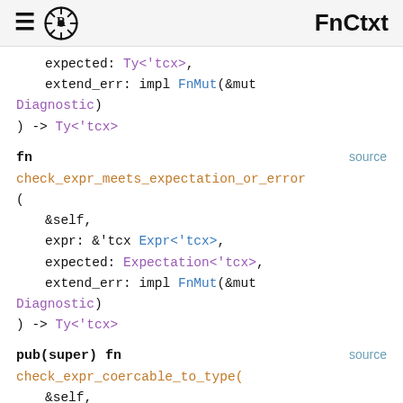FnCtxt
expected: Ty<'tcx>,
    extend_err: impl FnMut(&mut Diagnostic)
) -> Ty<'tcx>
fn                                          source
check_expr_meets_expectation_or_error
(
    &self,
    expr: &'tcx Expr<'tcx>,
    expected: Expectation<'tcx>,
    extend_err: impl FnMut(&mut Diagnostic)
) -> Ty<'tcx>
pub(super) fn                               source
check_expr_coercable_to_type(
    &self,